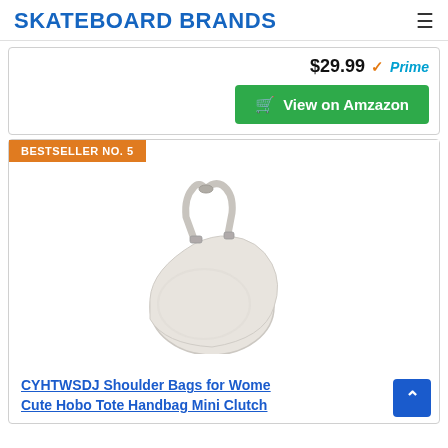SKATEBOARD BRANDS
$29.99 Prime
View on Amzazon
BESTSELLER NO. 5
[Figure (photo): White mini hobo shoulder bag / tote handbag with single curved strap, displayed on white background]
CYHTWSDJ Shoulder Bags for Women Cute Hobo Tote Handbag Mini Clutch